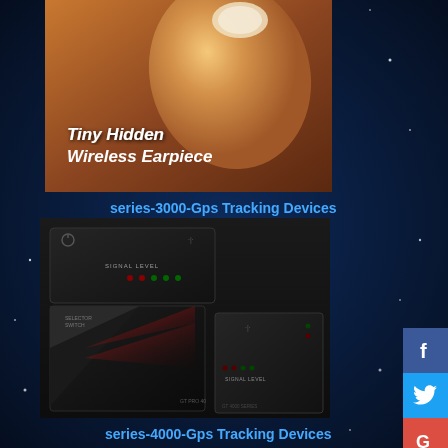[Figure (photo): Close-up photo of a finger holding a tiny hidden wireless earpiece, with text overlay 'Tiny Hidden Wireless Earpiece']
series-3000-Gps Tracking Devices
[Figure (photo): Photo of GPS tracking devices - series 3000, showing multiple black electronic devices with signal level indicators on a dark surface]
series-4000-Gps Tracking Devices
[Figure (photo): Photo of series 4000 GPS tracking device in a dark carrying case/pouch, partially visible at bottom of page]